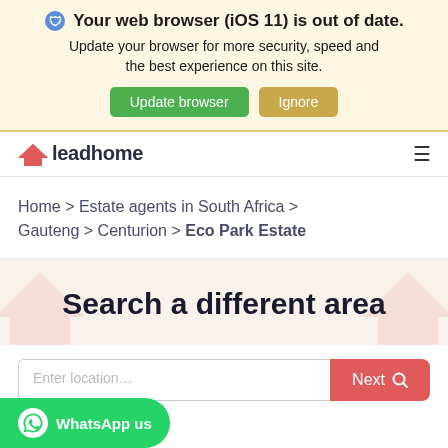Your web browser (iOS 11) is out of date. Update your browser for more security, speed and the best experience on this site. Update browser | Ignore
[Figure (logo): Leadhome logo with pink house icon and text 'leadhome']
Home > Estate agents in South Africa > Gauteng > Centurion > Eco Park Estate
Search a different area
Enter location...
Next
WhatsApp us